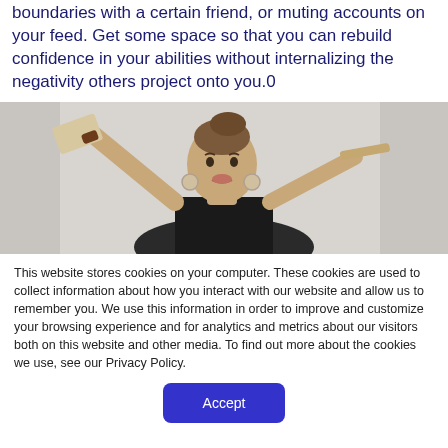boundaries with a certain friend, or muting accounts on your feed. Get some space so that you can rebuild confidence in your abilities without internalizing the negativity others project onto you.0
[Figure (photo): A young woman with brown hair pulled up, wearing hoop earrings and a dark top, holding objects in both raised hands against a light background.]
This website stores cookies on your computer. These cookies are used to collect information about how you interact with our website and allow us to remember you. We use this information in order to improve and customize your browsing experience and for analytics and metrics about our visitors both on this website and other media. To find out more about the cookies we use, see our Privacy Policy.
Accept